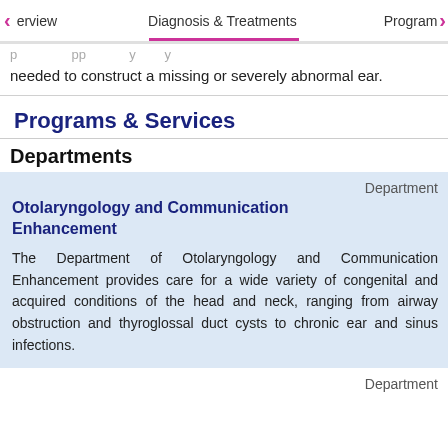Overview | Diagnosis & Treatments | Programs &
needed to construct a missing or severely abnormal ear.
Programs & Services
Departments
Department
Otolaryngology and Communication Enhancement
The Department of Otolaryngology and Communication Enhancement provides care for a wide variety of congenital and acquired conditions of the head and neck, ranging from airway obstruction and thyroglossal duct cysts to chronic ear and sinus infections.
Department